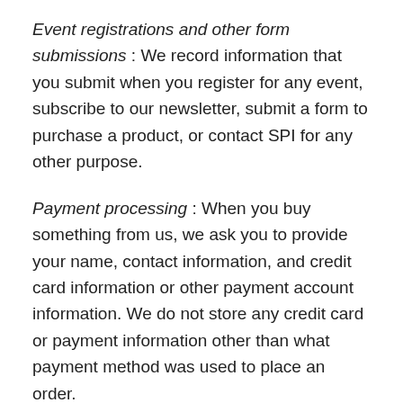Event registrations and other form submissions : We record information that you submit when you register for any event, subscribe to our newsletter, submit a form to purchase a product, or contact SPI for any other purpose.
Payment processing : When you buy something from us, we ask you to provide your name, contact information, and credit card information or other payment account information. We do not store any credit card or payment information other than what payment method was used to place an order.
Customer Spotlight : When you authorize us to post blogs about your use of our products and services on